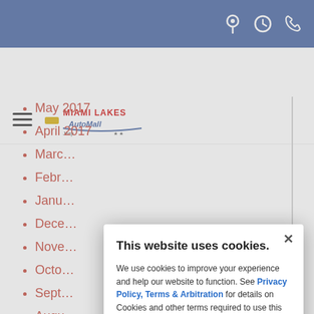Miami Lakes AutoMall website header with navigation icons
[Figure (logo): Miami Lakes AutoMall logo with hamburger menu]
May 2017
April 2017
March (truncated)
February (truncated)
January (truncated)
December (truncated)
November (truncated)
October (truncated)
September (truncated)
August (truncated)
July (truncated)
June (truncated)
This website uses cookies.

We use cookies to improve your experience and help our website to function. See Privacy Policy, Terms & Arbitration for details on Cookies and other terms required to use this site.

[Accept Cookies & Policies] [More Information]

Privacy Policy